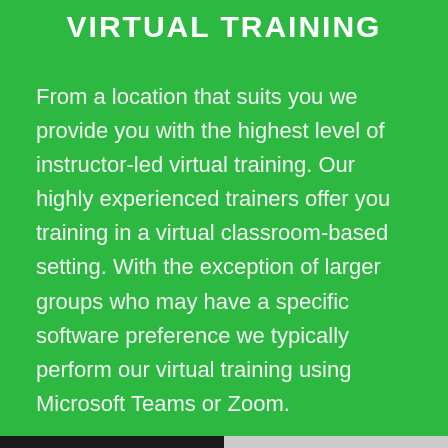VIRTUAL TRAINING
From a location that suits you we provide you with the highest level of instructor-led virtual training. Our highly experienced trainers offer you training in a virtual classroom-based setting. With the exception of larger groups who may have a specific software preference we typically perform our virtual training using Microsoft Teams or Zoom.